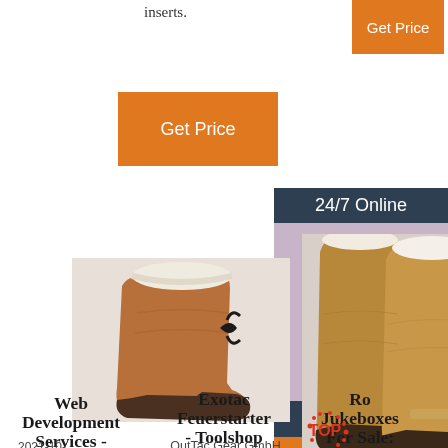inserts.
[Figure (other): Orange 'Get Price' button top right]
[Figure (other): Orange 'Get Price' button left]
[Figure (other): 24/7 Online customer service panel with woman wearing headset and chat/quotation overlay]
[Figure (photo): UGG-style short chestnut suede boot with bow]
[Figure (photo): Pair of tall UGG-style boots in tan/caramel color]
Web Development Services - Web Development Company
2021-10-
Exotac Feuerstarter - Toolshop
OutTac Gear GmbH - Messer, Tools, Lampen & Ausrüstung seit 1996 | ab 18%
Ro... Jukeboxes For Sale: Least Expensive - Best Prices